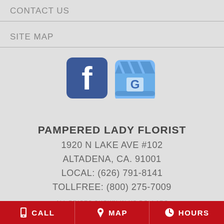CONTACT US
SITE MAP
[Figure (logo): Facebook logo icon (dark blue square with white 'f') and Google My Business logo icon (light blue storefront with 'G')]
PAMPERED LADY FLORIST
1920 N LAKE AVE #102
ALTADENA, CA. 91001
LOCAL: (626) 791-8141
TOLLFREE: (800) 275-7009
ALL PRICES SHOWN IN US DOLLARS
CALL   MAP   HOURS